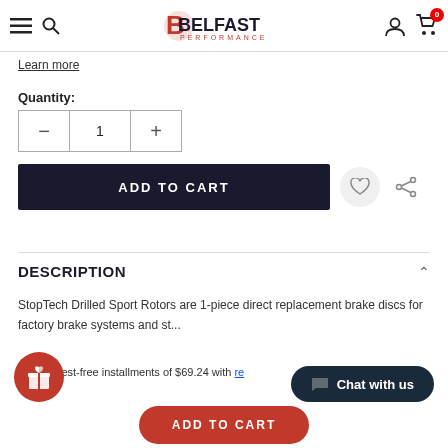Belfast Performance — navigation header with menu, search, logo, user, cart (0)
Learn more
Quantity:
1
ADD TO CART
DESCRIPTION
StopTech Drilled Sport Rotors are 1-piece direct replacement brake discs for factory brake systems and st...
Pay interest-free installments of $69.24 with
Chat with us
ADD TO CART